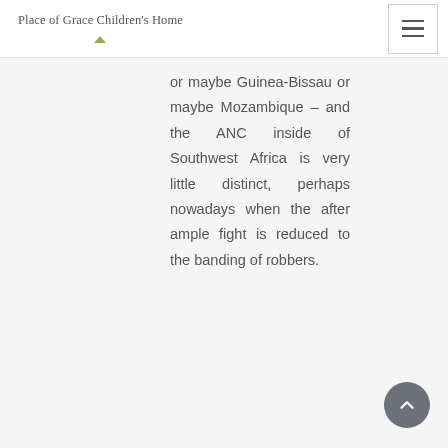Place of Grace Children's Home
or maybe Guinea-Bissau or maybe Mozambique – and the ANC inside of Southwest Africa is very little distinct, perhaps nowadays when the after ample fight is reduced to the banding of robbers.